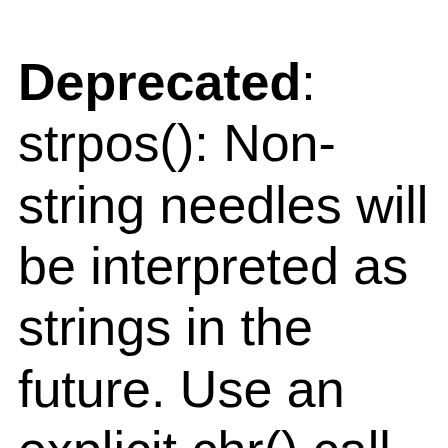Deprecated: strpos(): Non-string needles will be interpreted as strings in the future. Use an explicit chr() call to preserve the current behavior in /home/customer/www/soundb on line 18